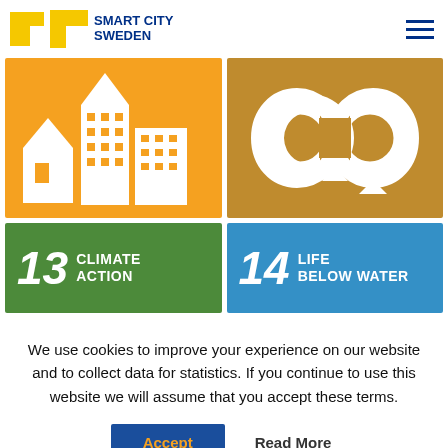SMART CITY SWEDEN
[Figure (illustration): SDG 11 Sustainable Cities and Communities icon — orange background with white building silhouettes]
[Figure (illustration): SDG circular economy icon — gold/dark yellow background with white infinity arrow loop symbol]
[Figure (illustration): SDG 13 Climate Action label tile — green background with number 13 and text CLIMATE ACTION in white]
[Figure (illustration): SDG 14 Life Below Water label tile — blue background with number 14 and text LIFE BELOW WATER in white]
We use cookies to improve your experience on our website and to collect data for statistics. If you continue to use this website we will assume that you accept these terms.
Accept
Read More